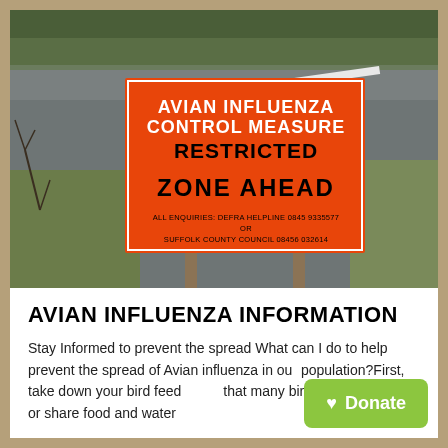[Figure (photo): Photograph of a roadside orange warning sign reading 'AVIAN INFLUENZA CONTROL MEASURE RESTRICTED ZONE AHEAD' with smaller text 'ALL ENQUIRIES: DEFRA HELPLINE 0845 9335577 OR SUFFOLK COUNTY COUNCIL 08456 032614'. Sign is mounted on two wooden posts beside a road with grass verge and hedgerow visible.]
AVIAN INFLUENZA INFORMATION
Stay Informed to prevent the spread What can I do to help prevent the spread of Avian influenza in our population?First, take down your bird feeders so that many birds flock together or share food and water